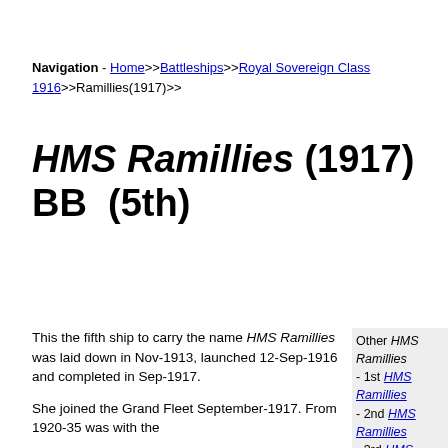Navigation - Home>>Battleships>>Royal Sovereign Class 1916>>Ramillies(1917)>>
HMS Ramillies (1917) BB (5th)
This the fifth ship to carry the name HMS Ramillies was laid down in Nov-1913, launched 12-Sep-1916 and completed in Sep-1917.

She joined the Grand Fleet September-1917. From 1920-35 was with the
Other HMS Ramillies
- 1st HMS Ramillies
- 2nd HMS Ramillies
- 3rd HMS